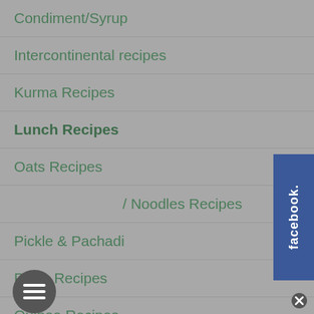Condiment/Syrup
Intercontinental recipes
Kurma Recipes
Lunch Recipes
Oats Recipes
/ Noodles Recipes
Pickle & Pachadi
Pizza Recipes
Quinoa Recipes
Side dish for breakfast
Side dish for chapati
[Figure (screenshot): Facebook social media tab on right side]
[Figure (other): Hamburger menu button (three horizontal lines) circular dark gray button]
[Figure (other): Close button small circular gray button bottom right]